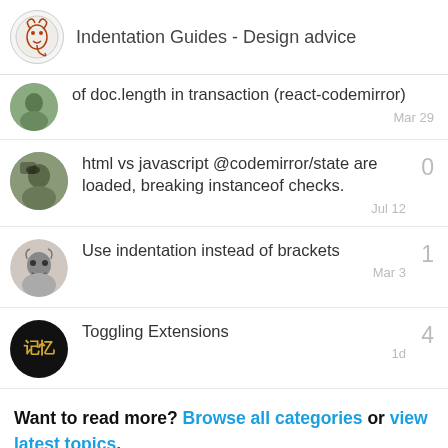Indentation Guides - Design advice
of doc.length in transaction (react-codemirror)
Mar 29
html vs javascript @codemirror/state are loaded, breaking instanceof checks.
Jul 12
0
Use indentation instead of brackets
Mar 3
1
Toggling Extensions
1d
4
Want to read more? Browse all categories or view latest topics.